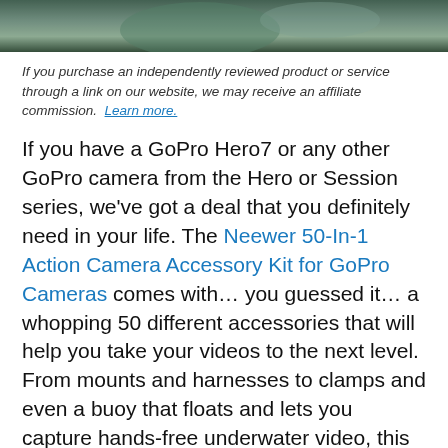[Figure (photo): Partial photo at top of page showing a person outdoors, cropped]
If you purchase an independently reviewed product or service through a link on our website, we may receive an affiliate commission. Learn more.
If you have a GoPro Hero7 or any other GoPro camera from the Hero or Session series, we've got a deal that you definitely need in your life. The Neewer 50-In-1 Action Camera Accessory Kit for GoPro Cameras comes with… you guessed it… a whopping 50 different accessories that will help you take your videos to the next level. From mounts and harnesses to clamps and even a buoy that floats and lets you capture hands-free underwater video, this kit has it all — and it's